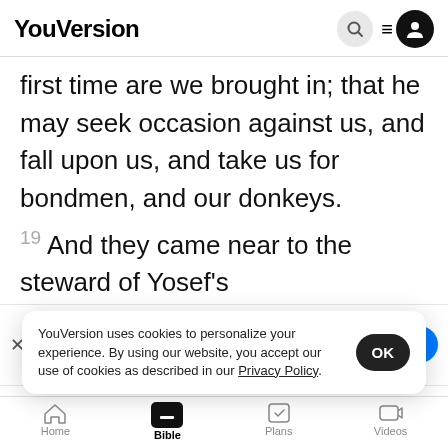YouVersion
first time are we brought in; that he may seek occasion against us, and fall upon us, and take us for bondmen, and our donkeys.
19 And they came near to the steward of Yosef’s
[Figure (screenshot): The Bible App download banner with icon showing HOLY BIBLE, star rating 7.9M, and Download button]
An...
first tim...
21 And it came to pass, when we came to the
YouVersion uses cookies to personalize your experience. By using our website, you accept our use of cookies as described in our Privacy Policy.
Home  Bible  Plans  Videos